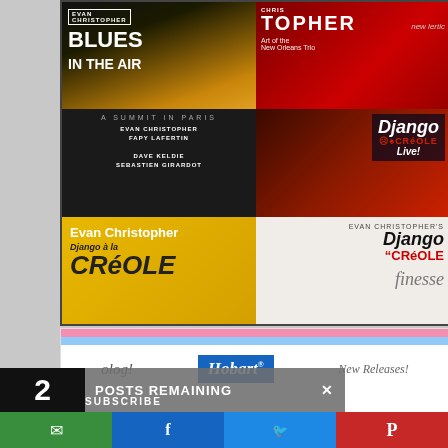[Figure (photo): A 2x3 grid of Evan Christopher music album covers including: Blues in the Air, Christopher Art of the New Orleans Trio, A Summit in Paris (Evan Christopher & Fapy Lafertin with Dave Keldie & Sebastien Girardot), Django and Creole Live, Django a la Creole (yellow cover), and Django Creole Finesse (white cover with sketch)]
[Figure (screenshot): Website subscription/newsletter banner with Hobart logo, 'New Releases!' text, and 'olog!' text on pink and blue striped header]
2 POSTS REMAINING X
SUBSCRIBE